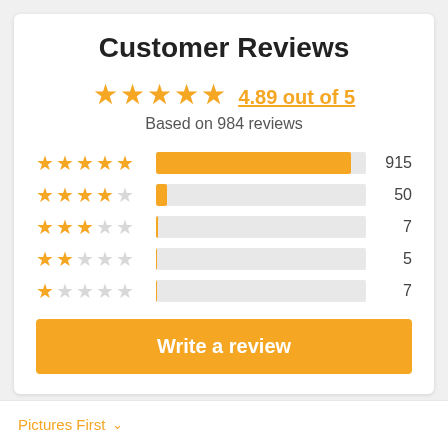Customer Reviews
4.89 out of 5
Based on 984 reviews
[Figure (bar-chart): Rating distribution]
Write a review
Pictures First